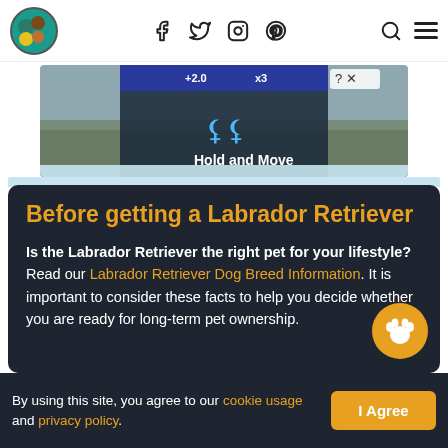Pet site header with logo, social icons (f, Twitter, Instagram, Pinterest), search and menu
[Figure (screenshot): Advertisement banner showing 'Hold and Move' app/game with dark top bar, human figures icon, and winter trees background]
Before getting a Labrador Retriever
Is the Labrador Retriever the right pet for your lifestyle? Read our Labrador Retriever Dog Breed Information. It is important to consider these facts to help you decide whether you are ready for long-term pet ownership.
By using this site, you agree to our cookie usage and privacy policy.